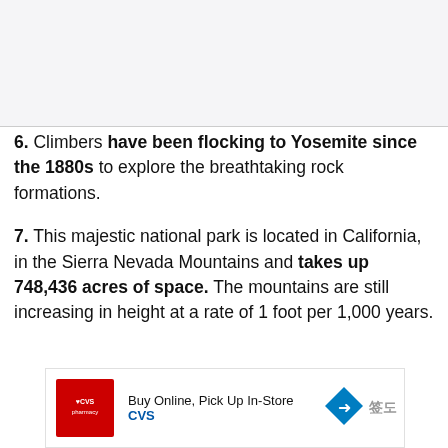[Figure (photo): Image placeholder area at top of page, light gray background]
6. Climbers have been flocking to Yosemite since the 1880s to explore the breathtaking rock formations.
7. This majestic national park is located in California, in the Sierra Nevada Mountains and takes up 748,436 acres of space. The mountains are still increasing in height at a rate of 1 foot per 1,000 years.
[Figure (other): CVS Pharmacy advertisement banner: Buy Online, Pick Up In-Store. CVS logo in red, navigation arrow icon, WWE logo mark.]